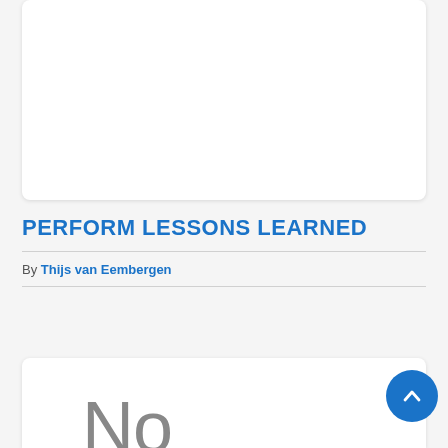[Figure (other): White card/placeholder area at top of page]
PERFORM LESSONS LEARNED
By Thijs van Eembergen
[Figure (other): White card showing partial large grey text 'No']